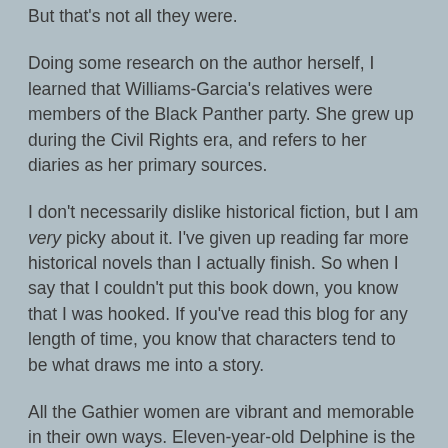But that's not all they were.
Doing some research on the author herself, I learned that Williams-Garcia's relatives were members of the Black Panther party. She grew up during the Civil Rights era, and refers to her diaries as her primary sources.
I don't necessarily dislike historical fiction, but I am very picky about it. I've given up reading far more historical novels than I actually finish. So when I say that I couldn't put this book down, you know that I was hooked. If you've read this blog for any length of time, you know that characters tend to be what draws me into a story.
All the Gathier women are vibrant and memorable in their own ways. Eleven-year-old Delphine is the